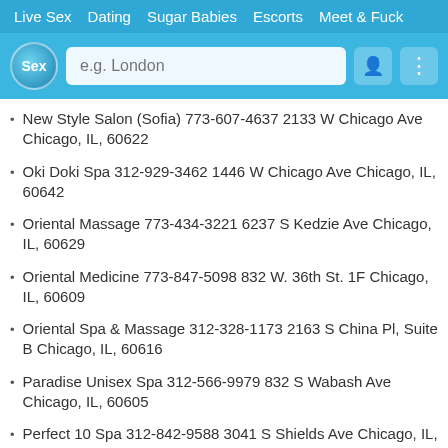Live Sex  Dating  Sugar Babies  Escorts  Meet & Fuck
New Style Salon (Sofia) 773-607-4637 2133 W Chicago Ave Chicago, IL, 60622
Oki Doki Spa 312-929-3462 1446 W Chicago Ave Chicago, IL, 60642
Oriental Massage 773-434-3221 6237 S Kedzie Ave Chicago, IL, 60629
Oriental Medicine 773-847-5098 832 W. 36th St. 1F Chicago, IL, 60609
Oriental Spa & Massage 312-328-1173 2163 S China Pl, Suite B Chicago, IL, 60616
Paradise Unisex Spa 312-566-9979 832 S Wabash Ave Chicago, IL, 60605
Perfect 10 Spa 312-842-9588 3041 S Shields Ave Chicago, IL, 60616
Ping Spa 773-327-1184 3748 N Ashland Ave Chicago, IL, 60613
Pretty Asian 312-833-8181 1103 N Western Ave Chicago, IL, 60622
Pro Beauty 773-629-1918 6017 W Irving Park Rd Chicago, IL,